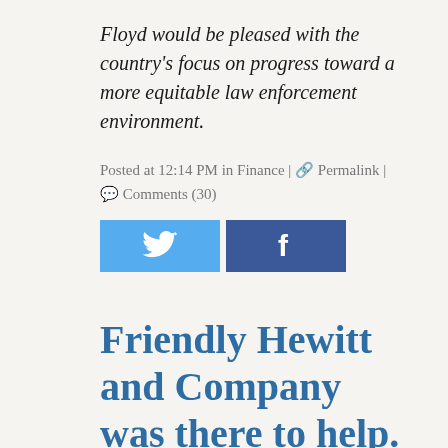Floyd would be pleased with the country's focus on progress toward a more equitable law enforcement environment.
Posted at 12:14 PM in Finance | 🔗 Permalink | 💬 Comments (30)
[Figure (other): Twitter and Facebook share buttons]
Friendly Hewitt and Company was there to help. To help Bruce.
Thursday, 22 August 2013